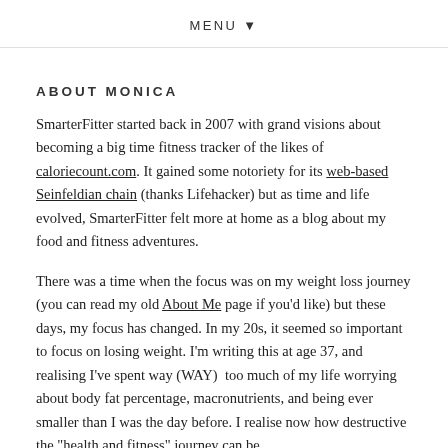MENU ▼
ABOUT MONICA
SmarterFitter started back in 2007 with grand visions about becoming a big time fitness tracker of the likes of caloriecount.com. It gained some notoriety for its web-based Seinfeldian chain (thanks Lifehacker) but as time and life evolved, SmarterFitter felt more at home as a blog about my food and fitness adventures.
There was a time when the focus was on my weight loss journey (you can read my old About Me page if you'd like) but these days, my focus has changed. In my 20s, it seemed so important to focus on losing weight. I'm writing this at age 37, and realising I've spent way (WAY)  too much of my life worrying about body fat percentage, macronutrients, and being ever smaller than I was the day before. I realise now how destructive the "health and fitness" journey can be